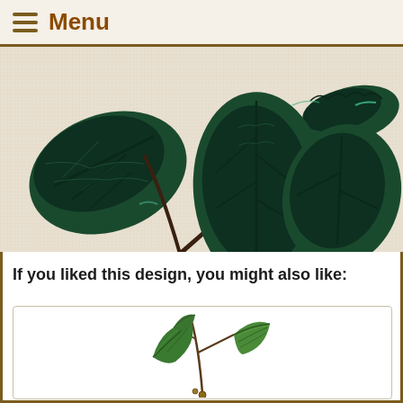Menu
[Figure (photo): Close-up photograph of dark green leaf embroidery on a light linen or canvas fabric. The embroidery shows multiple leaves with stems in a botanical style, using dark forest green thread with visible texture stitching.]
If you liked this design, you might also like:
[Figure (illustration): Botanical illustration of green leaves on a branch, showing detailed venation. The leaves appear to be from a broadleaf plant, rendered in a naturalistic style with green coloring on a white background.]